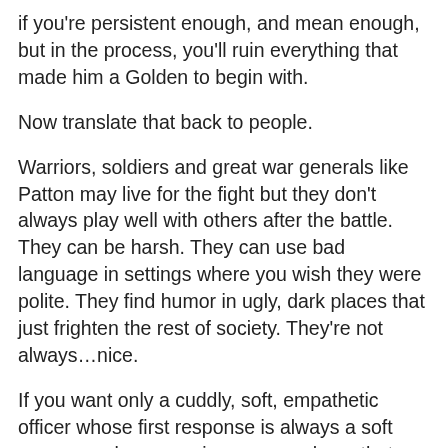if you're persistent enough, and mean enough, but in the process, you'll ruin everything that made him a Golden to begin with.
Now translate that back to people.
Warriors, soldiers and great war generals like Patton may live for the fight but they don't always play well with others after the battle. They can be harsh. They can use bad language in settings where you wish they were polite. They find humor in ugly, dark places that just frighten the rest of society. They're not always…nice.
If you want only a cuddly, soft, empathetic officer whose first response is always a soft answer and compassion, you can have that. She'll never embarrass her chief at Coffee with a Cop. He'll present well on camera every time and remind you of someone's grandfather. He'll be the perfect SRO until there's an active shooter at your